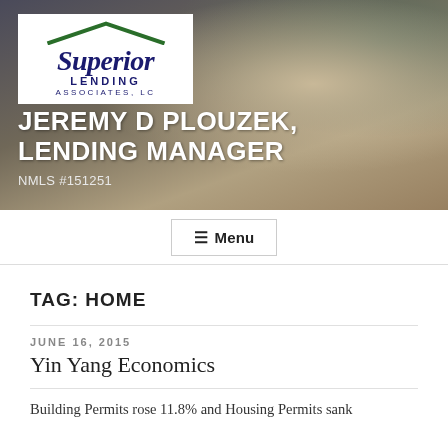[Figure (photo): Hero banner with photo of plants on a wooden table, overlaid with Superior Lending Associates LC logo and text]
JEREMY D PLOUZEK, LENDING MANAGER
NMLS #151251
Menu
TAG: HOME
JUNE 16, 2015
Yin Yang Economics
Building Permits rose 11.8% and Housing Permits sank